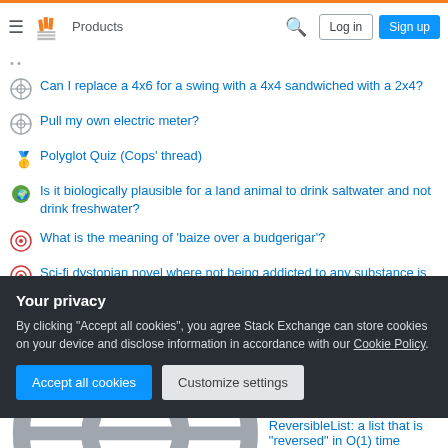Stack Exchange – Products | Log in | Sign up
Can I replace a 4x6 for a swing with a 4x4 sandwiched with a 2x4?
Pull my own electric meter?
Polyglot Quiz (Cops' thread)
Is it biologically plausible for a land animal to drink saltwater and not drink freshwater?
What is the meaning of 'baize over a budgerigar'?
Sci-fi dystopian novel where not being addicted to any substance is illegal
Yet another sequence with letters and a question mark
Logical/Scientific Explanation for Umbrakinesis?
Your privacy
By clicking "Accept all cookies", you agree Stack Exchange can store cookies on your device and disclose information in accordance with our Cookie Policy.
ReversibleList: a list that is "reversed" in O(1) time